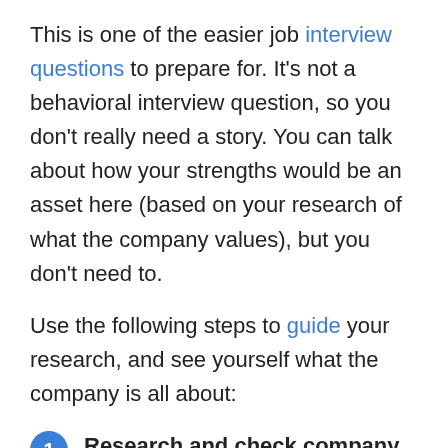This is one of the easier job interview questions to prepare for. It's not a behavioral interview question, so you don't really need a story. You can talk about how your strengths would be an asset here (based on your research of what the company values), but you don't need to.
Use the following steps to guide your research, and see yourself what the company is all about:
1. Research and check company website. Spend a lot of time going through the company website (if they have one). Read...